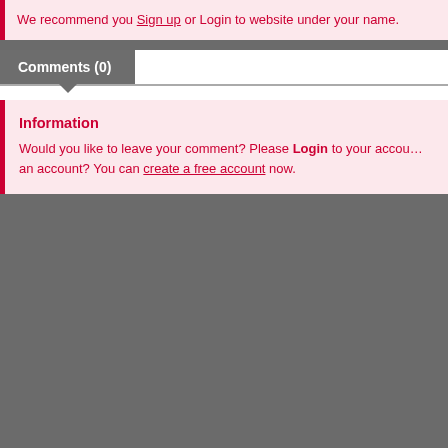We recommend you Sign up or Login to website under your name.
Comments (0)
Information
Would you like to leave your comment? Please Login to your account. Don't have an account? You can create a free account now.